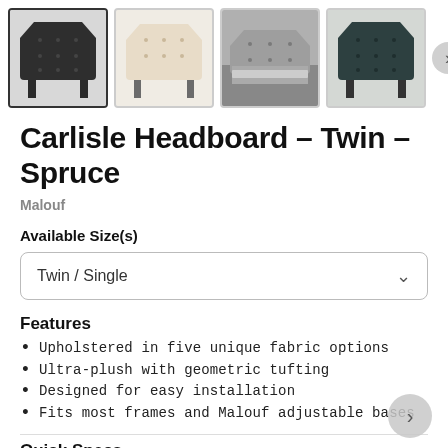[Figure (screenshot): Thumbnail row showing four product images of the Carlisle Headboard in different colors with a next arrow button]
Carlisle Headboard – Twin – Spruce
Malouf
Available Size(s)
Twin / Single
Features
Upholstered in five unique fabric options
Ultra-plush with geometric tufting
Designed for easy installation
Fits most frames and Malouf adjustable bases
Quick Specs